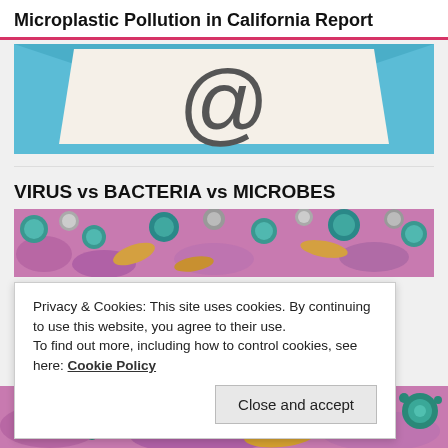Microplastic Pollution in California Report
[Figure (illustration): Email envelope icon with @ symbol on blue background]
VIRUS vs BACTERIA vs MICROBES
[Figure (photo): Microscopic view of colorful virus and bacteria cells on purple surface - upper portion]
Privacy & Cookies: This site uses cookies. By continuing to use this website, you agree to their use.
To find out more, including how to control cookies, see here: Cookie Policy
[Figure (photo): Microscopic view of colorful virus and bacteria cells on purple surface - lower portion]